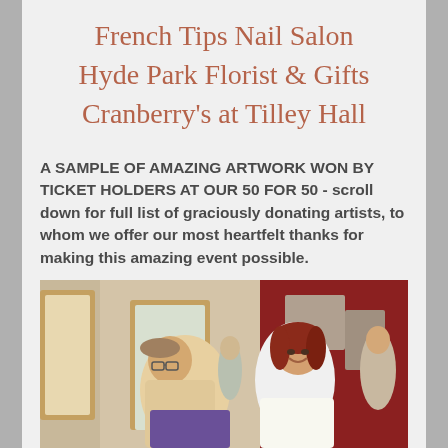French Tips Nail Salon
Hyde Park Florist & Gifts
Cranberry's at Tilley Hall
A SAMPLE OF AMAZING ARTWORK WON BY TICKET HOLDERS AT OUR 50 FOR 50 - scroll down for full list of graciously donating artists, to whom we offer our most heartfelt thanks for making this amazing event possible.
[Figure (photo): Two people at an indoor event; a man with glasses looking down at something purple, and a woman with short red hair smiling, against a red and tan background.]